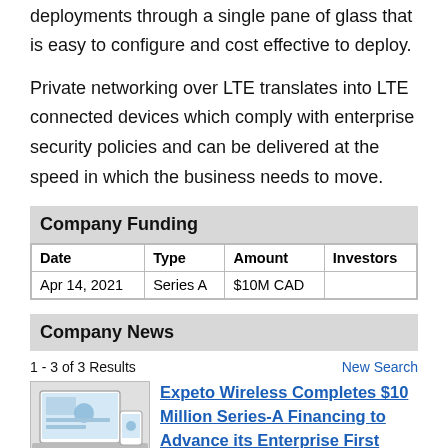deployments through a single pane of glass that is easy to configure and cost effective to deploy.
Private networking over LTE translates into LTE connected devices which comply with enterprise security policies and can be delivered at the speed in which the business needs to move.
Company Funding
| Date | Type | Amount | Investors |
| --- | --- | --- | --- |
| Apr 14, 2021 | Series A | $10M CAD |  |
Company News
1 - 3 of 3 Results
New Search
[Figure (screenshot): Thumbnail image of a laptop and mobile device showing a software dashboard interface]
Expeto Wireless Completes $10 Million Series-A Financing to Advance its Enterprise First